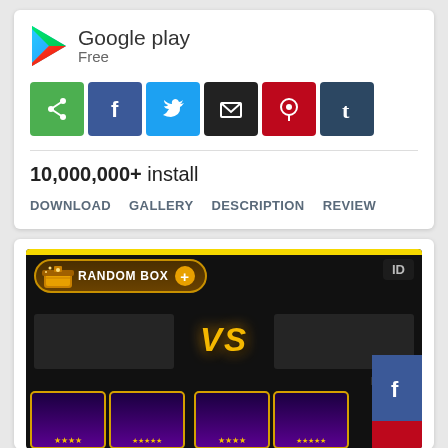[Figure (logo): Google Play logo with triangle arrow icon and text 'Google play' and 'Free' below]
[Figure (infographic): Social share icons row: WhatsApp (green), Facebook (blue), Twitter (blue), Email (black), Pinterest (red), Tumblr (dark blue)]
10,000,000+ install
DOWNLOAD  GALLERY  DESCRIPTION  REVIEW
[Figure (screenshot): Mobile game screenshot showing RANDOM BOX UI element at top, VS battle screen in center with golden VS text, dark arena backgrounds, character cards at bottom with star ratings, and Facebook/Pinterest social icons on right edge]